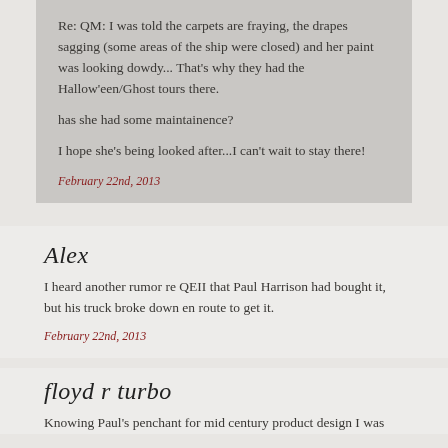Re: QM: I was told the carpets are fraying, the drapes sagging (some areas of the ship were closed) and her paint was looking dowdy... That's why they had the Hallow'een/Ghost tours there.

has she had some maintainence?

I hope she's being looked after...I can't wait to stay there!
February 22nd, 2013
Alex
I heard another rumor re QEII that Paul Harrison had bought it, but his truck broke down en route to get it.
February 22nd, 2013
floyd r turbo
Knowing Paul's penchant for mid century product design I was